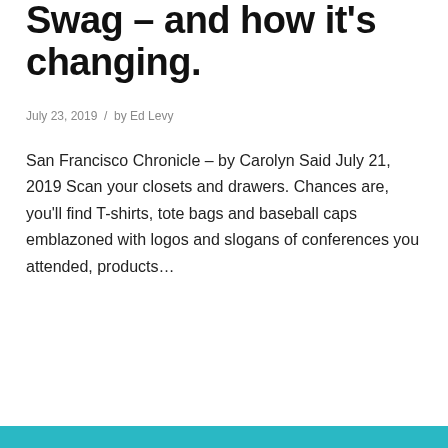Swag – and how it's changing.
July 23, 2019 / by Ed Levy
San Francisco Chronicle – by Carolyn Said July 21, 2019 Scan your closets and drawers. Chances are, you'll find T-shirts, tote bags and baseball caps emblazoned with logos and slogans of conferences you attended, products…
Continue reading